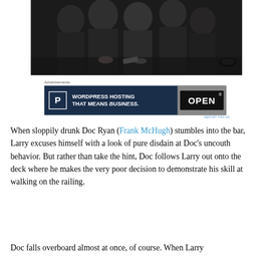[Figure (photo): Black and white photograph of men in suits sitting at a bar or table, appearing to be in a social/gambling scene from a classic film.]
Advertisements
[Figure (other): Advertisement banner: WordPress hosting with P logo and OPEN sign photo. Text reads: WORDPRESS HOSTING THAT MEANS BUSINESS.]
When sloppily drunk Doc Ryan (Frank McHugh) stumbles into the bar, Larry excuses himself with a look of pure disdain at Doc's uncouth behavior. But rather than take the hint, Doc follows Larry out onto the deck where he makes the very poor decision to demonstrate his skill at walking on the railing.
Doc falls overboard almost at once, of course. When Larry